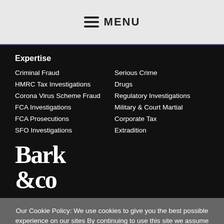☰ MENU
Expertise
Criminal Fraud
Serious Crime
HMRC Tax Investigations
Drugs
Corona Virus Scheme Fraud
Regulatory Investigations
FCA Investigations
Military & Court Martial
FCA Prosecutions
Corporate Tax
SFO Investigations
Extradition
[Figure (logo): Bark & Co logo in white serif font on black background]
Our Cookie Policy: We use cookies to give you the best possible experience on our sites By continuing to use this site we assume you agree to this.